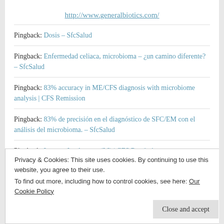http://www.generalbiotics.com/
Pingback: Dosis – SfcSalud
Pingback: Enfermedad celiaca, microbioma – ¿un camino diferente? – SfcSalud
Pingback: 83% accuracy in ME/CFS diagnosis with microbiome analysis | CFS Remission
Pingback: 83% de precisión en el diagnóstico de SFC/EM con el análisis del microbioma. – SfcSalud
Pingback: Lactose Intolerance (LI) | CFS Remission
Privacy & Cookies: This site uses cookies. By continuing to use this website, you agree to their use. To find out more, including how to control cookies, see here: Our Cookie Policy